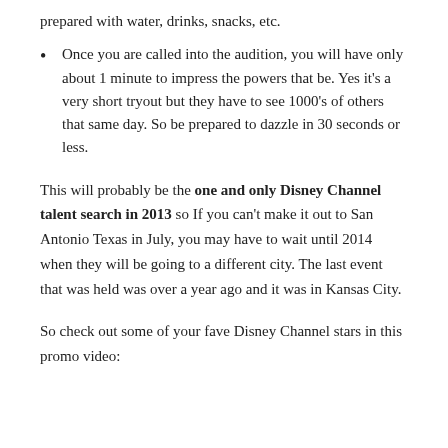prepared with water, drinks, snacks, etc.
Once you are called into the audition, you will have only about 1 minute to impress the powers that be. Yes it's a very short tryout but they have to see 1000's of others that same day. So be prepared to dazzle in 30 seconds or less.
This will probably be the one and only Disney Channel talent search in 2013 so If you can't make it out to San Antonio Texas in July, you may have to wait until 2014 when they will be going to a different city. The last event that was held was over a year ago and it was in Kansas City.
So check out some of your fave Disney Channel stars in this promo video: